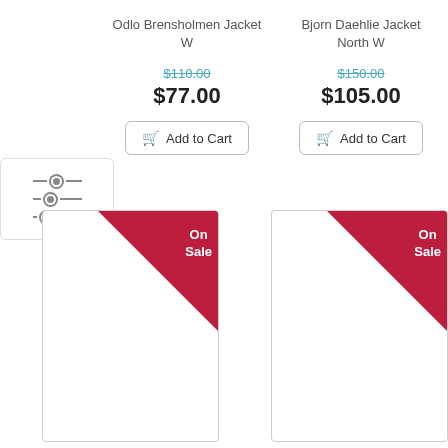Odlo Brensholmen Jacket W
$110.00 (original price, strikethrough)
$77.00
Add to Cart
Bjorn Daehlie Jacket North W
$150.00 (original price, strikethrough)
$105.00
Add to Cart
[Figure (screenshot): Product card with On Sale ribbon triangle, white background, for Odlo Brensholmen Jacket W]
[Figure (screenshot): Product card with On Sale ribbon triangle, white background, for Bjorn Daehlie Jacket North W]